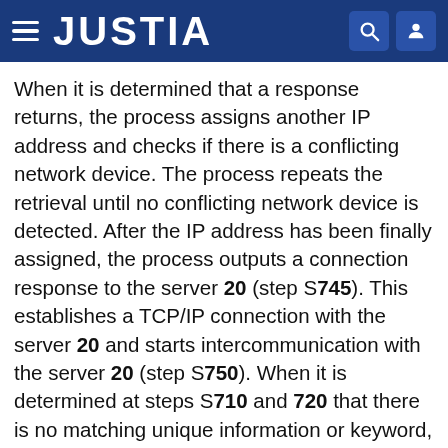JUSTIA
When it is determined that a response returns, the process assigns another IP address and checks if there is a conflicting network device. The process repeats the retrieval until no conflicting network device is detected. After the IP address has been finally assigned, the process outputs a connection response to the server 20 (step S745). This establishes a TCP/IP connection with the server 20 and starts intercommunication with the server 20 (step S750). When it is determined at steps S710 and 720 that there is no matching unique information or keyword, the process projects a message indicating an unsuccessful connection, allowing the user of the server 20 to visually confirm the message (step S755). When the intercommunication with the server 20 starts at step S750, the server 20 can input image data. Then, the client executes the image display process to